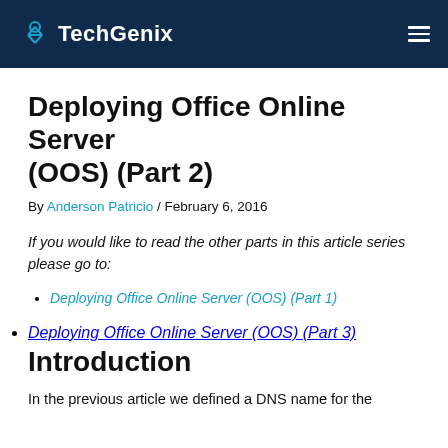TechGenix
Deploying Office Online Server (OOS) (Part 2)
By Anderson Patricio / February 6, 2016
If you would like to read the other parts in this article series please go to:
Deploying Office Online Server (OOS) (Part 1)
Deploying Office Online Server (OOS) (Part 3)
Introduction
In the previous article we defined a DNS name for the